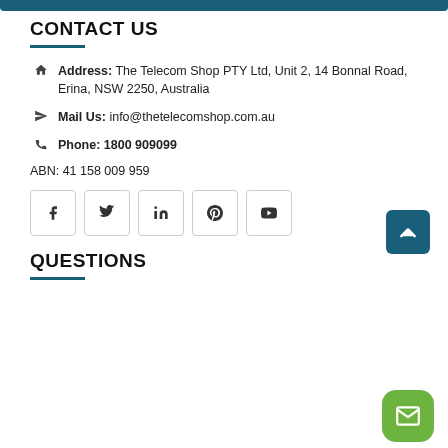CONTACT US
Address: The Telecom Shop PTY Ltd, Unit 2, 14 Bonnal Road, Erina, NSW 2250, Australia
Mail Us: info@thetelecomshop.com.au
Phone: 1800 909099
ABN: 41 158 009 959
[Figure (other): Social media icons row: Facebook, Twitter, LinkedIn, Pinterest, YouTube]
QUESTIONS